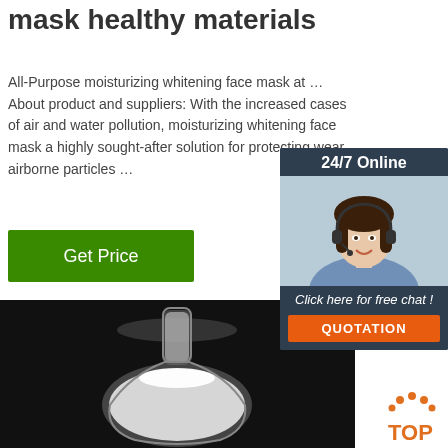mask healthy materials
All-Purpose moisturizing whitening face mask at … About product and suppliers: With the increased cases of air and water pollution, moisturizing whitening face mask a highly sought-after solution for protecting wear airborne particles …
Get Price
[Figure (photo): White powdery substance in a glass flask on a dark background]
[Figure (infographic): 24/7 Online chat widget with a customer service agent photo, 'Click here for free chat!' text, and QUOTATION button]